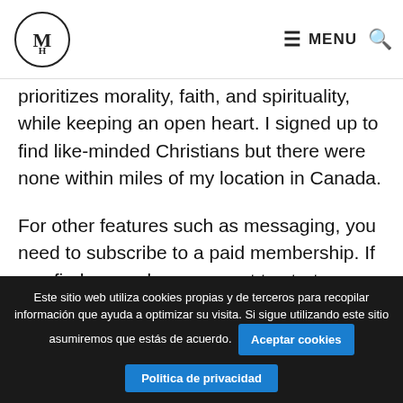MH logo | MENU
prioritizes morality, faith, and spirituality, while keeping an open heart. I signed up to find like-minded Christians but there were none within miles of my location in Canada.
For other features such as messaging, you need to subscribe to a paid membership. If you find a member you want to start communicating with, you can first send them a smile, an E-card, or a spark to show them you are interested. On Christian Mingle, I have been able to show my love for Christ and his word while also finding romantic love. View 10 Best Online Dating Sites.
Este sitio web utiliza cookies propias y de terceros para recopilar información que ayuda a optimizar su visita. Si sigue utilizando este sitio asumiremos que estás de acuerdo. Aceptar cookies | Politica de privacidad